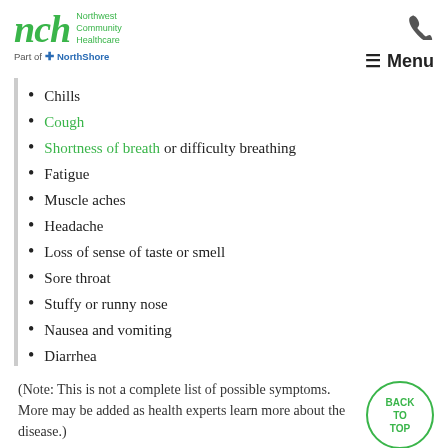nch Northwest Community Healthcare — Part of NorthShore — Phone — Menu
Chills
Cough
Shortness of breath or difficulty breathing
Fatigue
Muscle aches
Headache
Loss of sense of taste or smell
Sore throat
Stuffy or runny nose
Nausea and vomiting
Diarrhea
(Note: This is not a complete list of possible symptoms. More may be added as health experts learn more about the disease.)